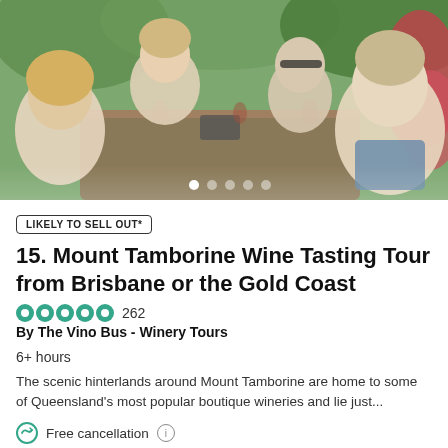[Figure (photo): Group of people sitting around an outdoor wooden table doing wine tasting, smiling at the camera, with garden greenery in the background.]
LIKELY TO SELL OUT*
15. Mount Tamborine Wine Tasting Tour from Brisbane or the Gold Coast
262
By The Vino Bus - Winery Tours
6+ hours
The scenic hinterlands around Mount Tamborine are home to some of Queensland's most popular boutique wineries and lie just...
Free cancellation
Recommended by 99% of travellers